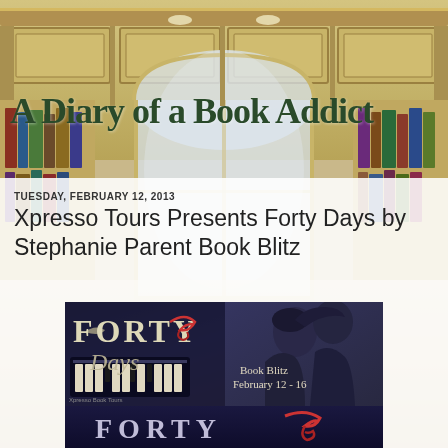[Figure (screenshot): Library/study room background with wooden cabinets, bookshelves, and an arched window]
A Diary of a Book Addict
TUESDAY, FEBRUARY 12, 2013
Xpresso Tours Presents Forty Days by Stephanie Parent Book Blitz
[Figure (photo): Book blitz banner for 'Forty Days' by Stephanie Parent showing couple and book cover, Book Blitz February 12-16]
[Figure (photo): Bottom portion of book cover for 'Forty Days' showing title text on dark blue background]